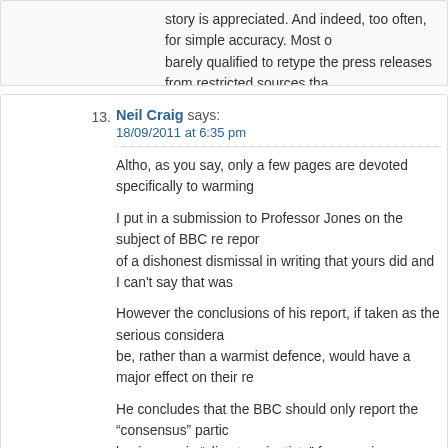story is appreciated. And indeed, too often, for simple accuracy. Most of... barely qualified to retype the press releases from restricted sources that...
And you'd be hard-pressed to find an objective, unconflicted scientist or...
13.
Neil Craig says:
18/09/2011 at 6:35 pm
Altho, as you say, only a few pages are devoted specifically to warming...
I put in a submission to Professor Jones on the subject of BBC re repor... of a dishonest dismissal in writing that yours did and I can't say that was...
However the conclusions of his report, if taken as the serious considera... be, rather than a warmist defence, would have a major effect on their re...
He concludes that the BBC should only report the "consensus" partic... business – ie "climate scientists" for warming..
However in the nuclear industry all nuclear engineers employed by th... acknowledge that nuclear power is the safest, most reliable, least... expensive way of producing power. Indeed I would be prepared to g... across the board willing to express an opinion would say that. You reall... Greenpeace and the like or wholly ignorant politicians to hear different.